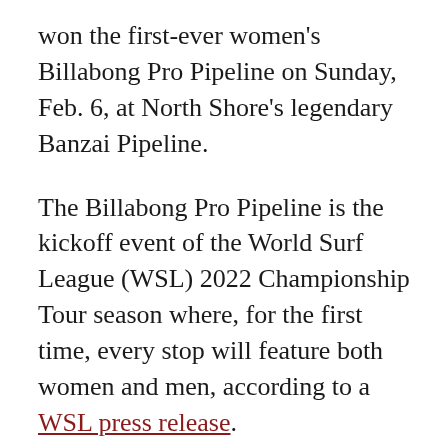won the first-ever women's Billabong Pro Pipeline on Sunday, Feb. 6, at North Shore's legendary Banzai Pipeline.
The Billabong Pro Pipeline is the kickoff event of the World Surf League (WSL) 2022 Championship Tour season where, for the first time, every stop will feature both women and men, according to a WSL press release.
This history-making win isn't Jones Wong's first notable first.